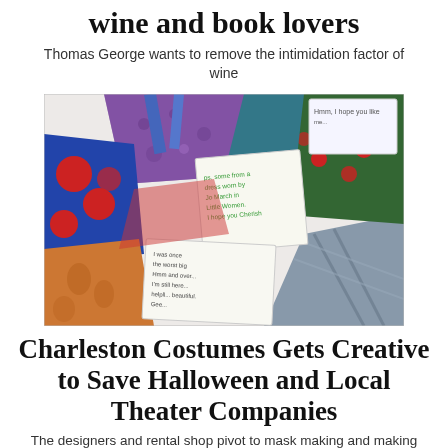wine and book lovers
Thomas George wants to remove the intimidation factor of wine
[Figure (photo): A spread of colorful fabric face masks and small handwritten notes, photographed from above on a white surface. Fabrics include purple floral, blue and red floral, orange damask, plaid, green with red patterns, and others. Small handwritten tags are visible among the masks.]
Charleston Costumes Gets Creative to Save Halloween and Local Theater Companies
The designers and rental shop pivot to mask making and making the holiday